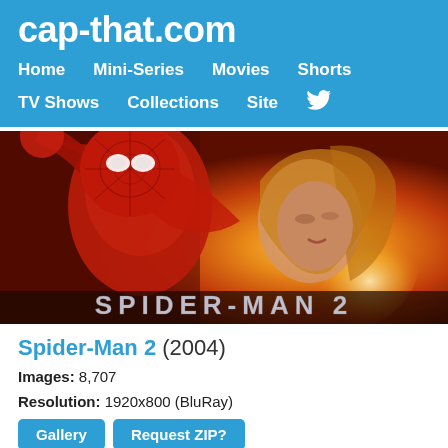cap-that.com
Home   Mini-Series   Movies   Shorts   TV Shows   Collections   Site   🐦
[Figure (photo): Spider-Man 2 movie poster/banner showing Spider-Man in red suit holding a woman, with golden/orange warm lighting and the text SPIDER-MAN 2 at the bottom.]
Spider-Man 2 (2004)
Images: 8,707
Resolution: 1920x800 (BluRay)
Gallery   Request ZIP?